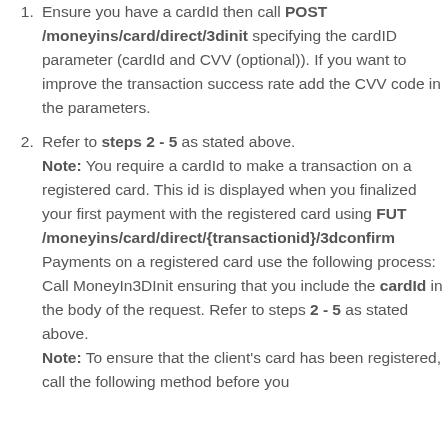Ensure you have a cardId then call POST /moneyins/card/direct/3dinit specifying the cardID parameter (cardId and CVV (optional)). If you want to improve the transaction success rate add the CVV code in the parameters.
Refer to steps 2 - 5 as stated above. Note: You require a cardId to make a transaction on a registered card. This id is displayed when you finalized your first payment with the registered card using FUT /moneyins/card/direct/{transactionid}/3dconfirm Payments on a registered card use the following process: Call MoneyIn3DInit ensuring that you include the cardId in the body of the request. Refer to steps 2 - 5 as stated above. Note: To ensure that the client's card has been registered, call the following method before you